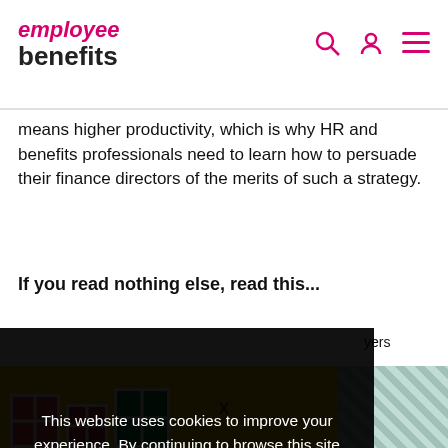employee benefits
means higher productivity, which is why HR and benefits professionals need to learn how to persuade their finance directors of the merits of such a strategy.
If you read nothing else, read this...
…yers
…n on …pirical
…g data.
This website uses cookies to improve your experience. By continuing to browse this site you are agreeing to our use of these cookies.
You can learn more about the cookies we use here.
[Figure (photo): Partial photo of a person and gift boxes visible at the bottom of the page]
x